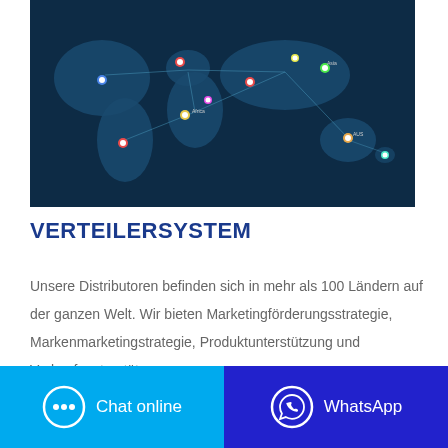[Figure (map): World map with dark navy background showing distributor locations across more than 100 countries, marked with flag pins and connecting lines]
VERTEILERSYSTEM
Unsere Distributoren befinden sich in mehr als 100 Ländern auf der ganzen Welt. Wir bieten Marketingförderungsstrategie, Markenmarketingstrategie, Produktunterstützung und Verkaufsunterstützung.
[Figure (photo): Partial teal/turquoise circular image visible at bottom of page]
Chat online | WhatsApp